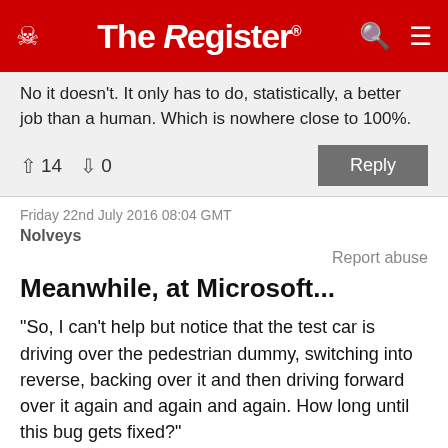The Register
No it doesn't. It only has to do, statistically, a better job than a human. Which is nowhere close to 100%.
↑14  ↓0   Reply
Friday 22nd July 2016 08:04 GMT
Nolveys
Report abuse
Meanwhile, at Microsoft...
"So, I can't help but notice that the test car is driving over the pedestrian dummy, switching into reverse, backing over it and then driving forward over it again and again and again. How long until this bug gets fixed?"
"What do you mean by 'bug'? Management told us to make it work this way, they say it makes for a better user experience. For version 10 we're going to make it so that